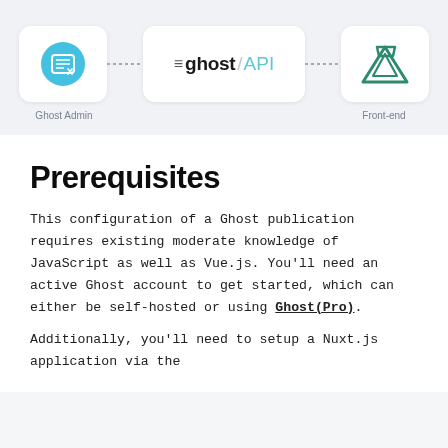[Figure (flowchart): Architecture diagram showing Ghost Admin connected via dotted line to Ghost API in the center, then dotted line to Front-end (Nuxt.js triangle logo). Labels below: Ghost Admin and Front-end.]
Prerequisites
This configuration of a Ghost publication requires existing moderate knowledge of JavaScript as well as Vue.js. You'll need an active Ghost account to get started, which can either be self-hosted or using Ghost(Pro).
Additionally, you'll need to setup a Nuxt.js application via the